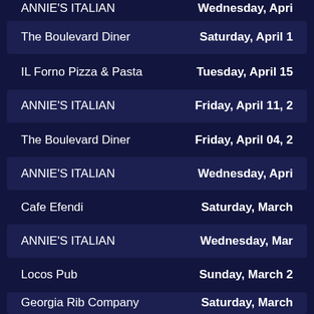ANNIE'S ITALIAN — Wednesday, Apri
The Boulevard Diner — Saturday, April 1
IL Forno Pizza & Pasta — Tuesday, April 15
ANNIE'S ITALIAN — Friday, April 11, 2
The Boulevard Diner — Friday, April 04, 2
ANNIE'S ITALIAN — Wednesday, Apri
Cafe Efendi — Saturday, March
ANNIE'S ITALIAN — Wednesday, Mar
Locos Pub — Sunday, March 2
Georgia Rib Company — Saturday, March